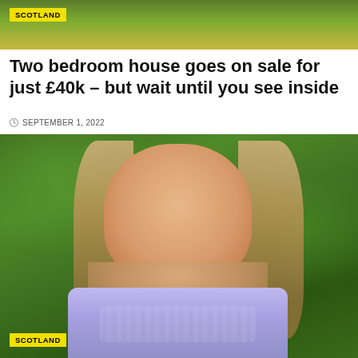[Figure (photo): Top cropped image with green outdoor background and yellow SCOTLAND badge overlay]
Two bedroom house goes on sale for just £40k – but wait until you see inside
SEPTEMBER 1, 2022
[Figure (photo): Photo of a young woman with long blonde hair wearing a light purple strapless top, standing in front of green foliage, with a yellow SCOTLAND badge in the bottom left corner]